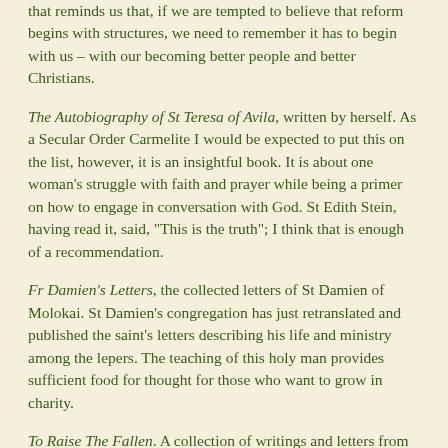that reminds us that, if we are tempted to believe that reform begins with structures, we need to remember it has to begin with us – with our becoming better people and better Christians.
The Autobiography of St Teresa of Avila, written by herself. As a Secular Order Carmelite I would be expected to put this on the list, however, it is an insightful book. It is about one woman's struggle with faith and prayer while being a primer on how to engage in conversation with God. St Edith Stein, having read it, said, "This is the truth"; I think that is enough of a recommendation.
Fr Damien's Letters, the collected letters of St Damien of Molokai. St Damien's congregation has just retranslated and published the saint's letters describing his life and ministry among the lepers. The teaching of this holy man provides sufficient food for thought for those who want to grow in charity.
To Raise The Fallen. A collection of writings and letters from the Irish Jesuit and martyr of charity, Fr Willie Doyle. He was an extraordinary man and priest whose love of God and neighbour brought him onto the battlefields of World War I, risking his life to care for the men in his care and ensuring that they had the Last Sacraments before they died. A man of extraordinary heroism and...